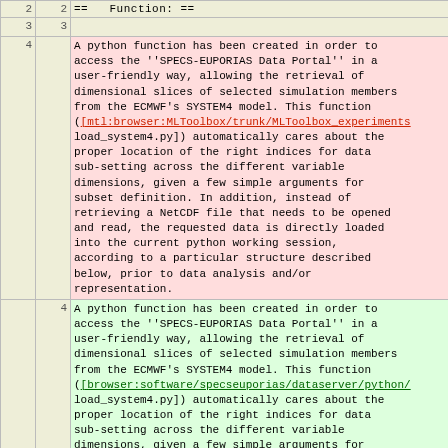| line | line | content |
| --- | --- | --- |
| 2 | 2 | ==  Function: == |
| 3 | 3 |  |
| 4 |  | A python function has been created in order to access the ''SPECS-EUPORIAS Data Portal'' in a user-friendly way, allowing the retrieval of dimensional slices of selected simulation members from the ECMWF's SYSTEM4 model. This function ([mtl:browser:MLToolbox/trunk/MLToolbox_experiments/load_system4.py]) automatically cares about the proper location of the right indices for data sub-setting across the different variable dimensions, given a few simple arguments for subset definition. In addition, instead of retrieving a NetCDF file that needs to be opened and read, the requested data is directly loaded into the current python working session, according to a particular structure described below, prior to data analysis and/or representation. |
|  | 4 | A python function has been created in order to access the ''SPECS-EUPORIAS Data Portal'' in a user-friendly way, allowing the retrieval of dimensional slices of selected simulation members from the ECMWF's SYSTEM4 model. This function ([browser:software/specseuporias/dataserver/python/load_system4.py]) automatically cares about the proper location of the right indices for data sub-setting across the different variable dimensions, given a few simple arguments for subset definition. In addition, instead of retrieving a NetCDF file that needs to be opened and read, the requested data is directly loaded into the current python working session, according to a particular structure described below, prior to data analysis and/or representation. |
| 5 | 5 |  |